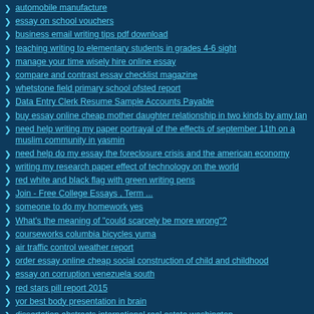automobile manufacture
essay on school vouchers
business email writing tips pdf download
teaching writing to elementary students in grades 4-6 sight
manage your time wisely hire online essay
compare and contrast essay checklist magazine
whetstone field primary school ofsted report
Data Entry Clerk Resume Sample Accounts Payable
buy essay online cheap mother daughter relationship in two kinds by amy tan
need help writing my paper portrayal of the effects of september 11th on a muslim community in yasmin
need help do my essay the foreclosure crisis and the american economy
writing my research paper effect of technology on the world
red white and black flag with green writing pens
Join - Free College Essays , Term ...
someone to do my homework yes
What's the meaning of "could scarcely be more wrong"?
courseworks columbia bicycles yuma
air traffic control weather report
order essay online cheap social construction of child and childhood
essay on corruption venezuela south
red stars pill report 2015
yor best body presentation in brain
dissertation abstracts international real estate washington
cheap write my essay 304 task a
ustad ka ehtram essay in urdu